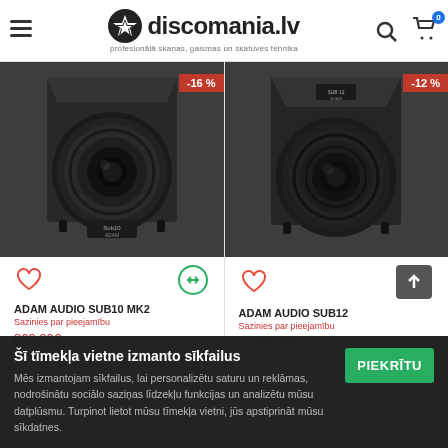discomania.lv — profesionālā skaņas, gaismas un skatuves tehnika
[Figure (photo): ADAM Audio SUB10 MK2 studio subwoofer speaker, dark grey/black, with -16% discount badge]
ADAM AUDIO SUB10 MK2
Sazinies par pieejamību
[Figure (photo): ADAM Audio SUB12 studio subwoofer speaker, dark grey/black, with -12% discount badge]
ADAM AUDIO SUB12
Sazinies par pieejamību
Šī tīmekļa vietne izmanto sīkfailus

Mēs izmantojam sīkfailus, lai personalizētu saturu un reklāmas, nodrošinātu sociālo saziņas līdzekļu funkcijas un analizētu mūsu datplūsmu. Turpinot lietot mūsu tīmekļa vietni, jūs apstiprināt mūsu sīkdatnes.